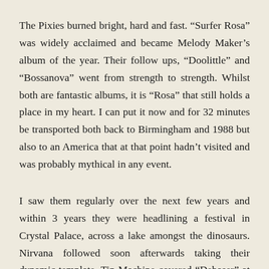The Pixies burned bright, hard and fast. “Surfer Rosa” was widely acclaimed and became Melody Maker’s album of the year. Their follow ups, “Doolittle” and “Bossanova” went from strength to strength. Whilst both are fantastic albums, it is “Rosa” that still holds a place in my heart. I can put it now and for 32 minutes be transported both back to Birmingham and 1988 but also to an America that at that point hadn’t visited and was probably mythical in any event.
I saw them regularly over the next few years and within 3 years they were headlining a festival in Crystal Palace, across a lake amongst the dinosaurs. Nirvana followed soon afterwards taking their dynamic template, Tin Machine covered “Debaser” at Brixton Academy (another good night out) and the fireworks went off at the end of “Fight Club” to “Where Is My Mind.” The Pixies have been